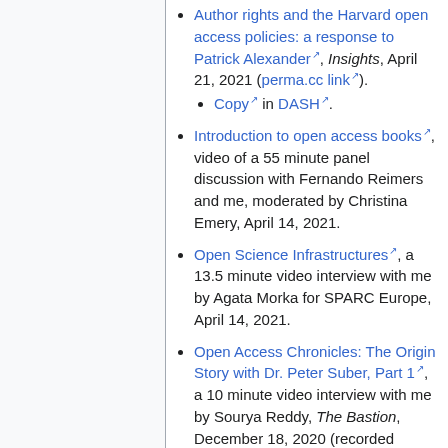Author rights and the Harvard open access policies: a response to Patrick Alexander, Insights, April 21, 2021 (perma.cc link).
Introduction to open access books, video of a 55 minute panel discussion with Fernando Reimers and me, moderated by Christina Emery, April 14, 2021.
Open Science Infrastructures, a 13.5 minute video interview with me by Agata Morka for SPARC Europe, April 14, 2021.
Open Access Chronicles: The Origin Story with Dr. Peter Suber, Part 1, a 10 minute video interview with me by Sourya Reddy, The Bastion, December 18, 2020 (recorded